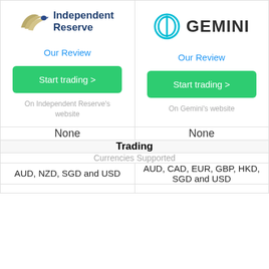[Figure (logo): Independent Reserve logo with bird/wing icon and blue text]
[Figure (logo): Gemini logo with teal circular icon and bold dark text]
Our Review
Our Review
Start trading >
Start trading >
On Independent Reserve's website
On Gemini's website
| Independent Reserve | Gemini |
| --- | --- |
| None | None |
| Trading | Trading |
| Currencies Supported | Currencies Supported |
| AUD, NZD, SGD and USD | AUD, CAD, EUR, GBP, HKD, SGD and USD |